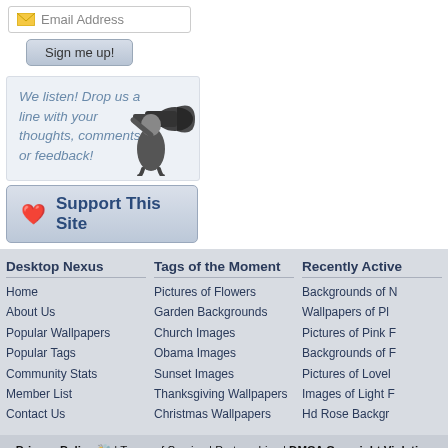[Figure (screenshot): Email address input field with envelope icon and text 'Email Address']
[Figure (screenshot): Sign me up! button with gradient styling]
We listen! Drop us a line with your thoughts, comments, or feedback!
[Figure (illustration): Black and white illustration of a man holding a megaphone/bullhorn]
Support This Site
Desktop Nexus
Home
About Us
Popular Wallpapers
Popular Tags
Community Stats
Member List
Contact Us
Tags of the Moment
Pictures of Flowers
Garden Backgrounds
Church Images
Obama Images
Sunset Images
Thanksgiving Wallpapers
Christmas Wallpapers
Recently Active
Backgrounds of N
Wallpapers of Pl
Pictures of Pink F
Backgrounds of F
Pictures of Lovel
Images of Light F
Hd Rose Backgr
Privacy Policy 🐝 | Terms of Service | Partnerships | DMCA Copyright Violation
© Desktop Nexus - All rights reserved.
Page rendered with 6 queries (and 0 cached) in 0.091 seconds from server 84.